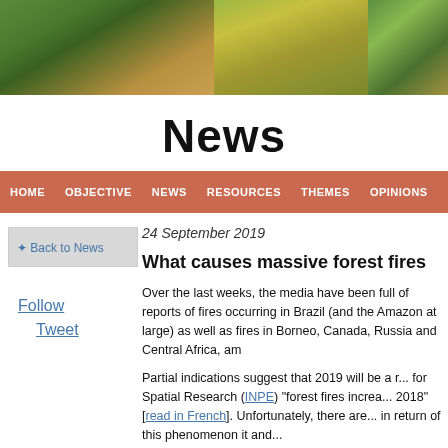[Figure (photo): Header banner with three landscape/nature photographs showing forest, crops, and hillside terrain]
News
HOME  OBJECTIVE  NEWS  RESOURCES  THEMES  OPINIONS
* Back to News
24 September 2019
What causes massive forest fires
Over the last weeks, the media have been full of reports of fires occurring in Brazil (and the Amazon at large) as well as fires in Borneo, Canada, Russia and Central Africa, am
Partial indications suggest that 2019 will be a r... for Spatial Research (INPE) "forest fires increa... 2018" [read in French]. Unfortunately, there are... in return of this phenomenon it and...